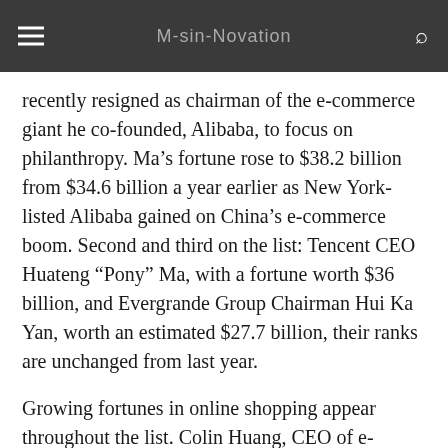M-sin-Novation
recently resigned as chairman of the e-commerce giant he co-founded, Alibaba, to focus on philanthropy. Ma’s fortune rose to $38.2 billion from $34.6 billion a year earlier as New York-listed Alibaba gained on China’s e-commerce boom. Second and third on the list: Tencent CEO Huateng “Pony” Ma, with a fortune worth $36 billion, and Evergrande Group Chairman Hui Ka Yan, worth an estimated $27.7 billion, their ranks are unchanged from last year.
Growing fortunes in online shopping appear throughout the list. Colin Huang, CEO of e-commerce site Pinduoduo, saw his estimated worth soar to $21.2 billion from $11.25 billion last